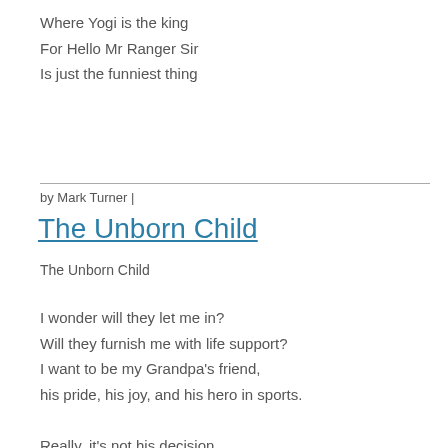Where Yogi is the king
For Hello Mr Ranger Sir
Is just the funniest thing
by Mark Turner |
The Unborn Child
The Unborn Child
I wonder will they let me in?
Will they furnish me with life support?
I want to be my Grandpa's friend,
his pride, his joy, and his hero in sports.

Really, it's not his decision
for these nine months to go on through.
Mom and Dad, it's up to your religion
to see that I'm worthwhile and needed, too.